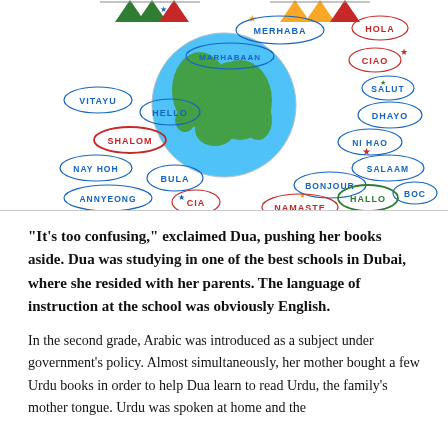[Figure (illustration): Colorful illustration of a globe surrounded by speech bubbles containing greetings in various languages: MERHABA, HOLA, MARHABAAN, CIAO, VITAYU, SALUT, HELLO, DHAYO, SHALOM, NI HAO, NAY HOH, SALAAM, BONJOUR, BOC, ANNYEONG, BULA, HALLO, CIA, NAMASTE. Decorative bunting flags and stars around the globe.]
“It’s too confusing,” exclaimed Dua, pushing her books aside. Dua was studying in one of the best schools in Dubai, where she resided with her parents. The language of instruction at the school was obviously English.
In the second grade, Arabic was introduced as a subject under government’s policy. Almost simultaneously, her mother bought a few Urdu books in order to help Dua learn to read Urdu, the family’s mother tongue. Urdu was spoken at home and the